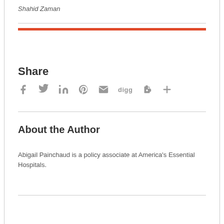Shahid Zaman
Share
[Figure (infographic): Social sharing icons: Facebook, Twitter, LinkedIn, Pinterest, Email, Digg, Evernote, More (+)]
About the Author
Abigail Painchaud is a policy associate at America's Essential Hospitals.